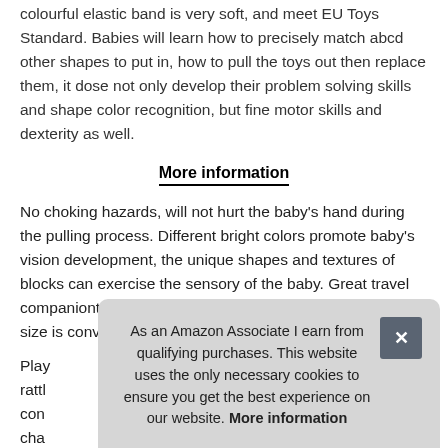colourful elastic band is very soft, and meet EU Toys Standard. Babies will learn how to precisely match abcd other shapes to put in, how to pull the toys out then replace them, it dose not only develop their problem solving skills and shape color recognition, but fine motor skills and dexterity as well.
More information
No choking hazards, will not hurt the baby's hand during the pulling process. Different bright colors promote baby's vision development, the unique shapes and textures of blocks can exercise the sensory of the baby. Great travel companionthis sensory box is easy to carry, and decent size is convenient to put into baby diaper bag.
Play... rattl... con... cha...
As an Amazon Associate I earn from qualifying purchases. This website uses the only necessary cookies to ensure you get the best experience on our website. More information